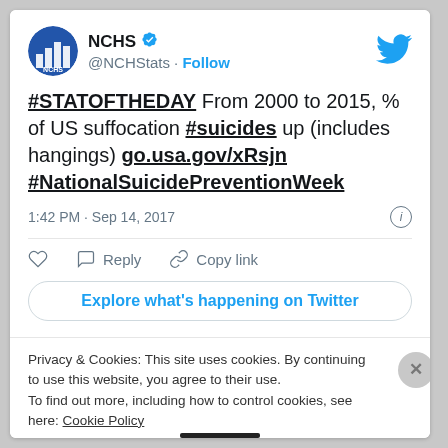[Figure (screenshot): Twitter/X bird logo icon in blue, top right of tweet card]
[Figure (photo): NCHS profile avatar - circular image showing bar chart logo with NCHS text]
NCHS ✓ @NCHStats · Follow
#STATOFTHEDAY From 2000 to 2015, % of US suffocation #suicides up (includes hangings) go.usa.gov/xRsjn #NationalSuicidePreventionWeek
1:42 PM · Sep 14, 2017
♡  Reply  Copy link
Explore what's happening on Twitter
Privacy & Cookies: This site uses cookies. By continuing to use this website, you agree to their use.
To find out more, including how to control cookies, see here: Cookie Policy
Close and accept